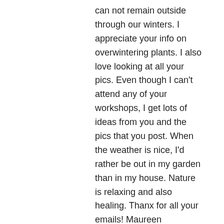can not remain outside through our winters. I appreciate your info on overwintering plants. I also love looking at all your pics. Even though I can't attend any of your workshops, I get lots of ideas from you and the pics that you post. When the weather is nice, I'd rather be out in my garden than in my house. Nature is relaxing and also healing. Thanx for all your emails! Maureen 🙂
↳ Reply
Cathy Testa on October 6, 2017 at 8:55 am
Maureen, Thank you so much – I'm very happy you enjoy my posts and information.